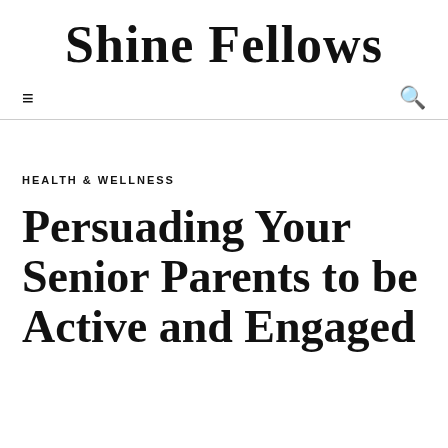Shine Fellows
HEALTH & WELLNESS
Persuading Your Senior Parents to be Active and Engaged